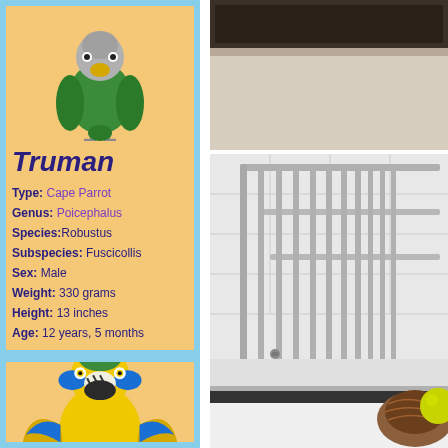[Figure (illustration): Illustrated green and grey Cape Parrot (Truman) perched, facing forward]
Truman
Type: Cape Parrot
Genus: Poicephalus
Species: Robustus
Subspecies: Fuscicollis
Sex: Male
Weight: 330 grams
Height: 13 inches
Age: 12 years, 5 months
[Figure (illustration): Illustrated yellow and blue Macaw parrot perched, facing forward]
[Figure (photo): Photo of a bird cage bar top portion, dark frame at top]
[Figure (photo): Photo of grey metal bird cage bars with white tile wall background, and a wicker nest with a ball at bottom right]